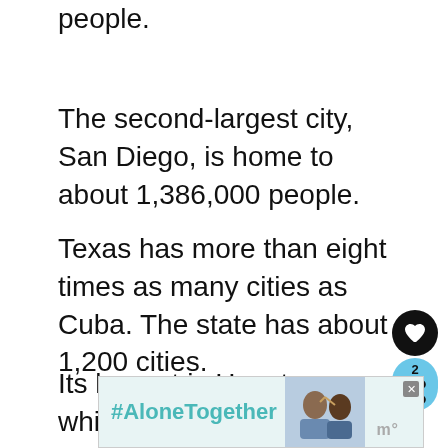people.
The second-largest city, San Diego, is home to about 1,386,000 people.
Texas has more than eight times as many cities as Cuba. The state has about 1,200 cities.
Its largest is Houston, which has a population of about 2,300,000 people, which is very close to Havana's population.
[Figure (screenshot): Social media UI elements: heart/like button (black circle), share button with count '2' on light blue pill shape]
[Figure (screenshot): What's Next overlay: thumbnail image with 'WHAT'S NEXT →' label and text '7 Examples Of How Big 50...']
[Figure (screenshot): Advertisement banner with '#AloneTogether' text in teal, photo of two people, close button, and 'm°' logo]